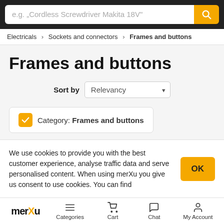[Figure (screenshot): Search bar with placeholder text and yellow search button]
Electricals › Sockets and connectors › Frames and buttons
Frames and buttons
Sort by Relevancy
Category: Frames and buttons
Products 95,962   Services 0   Inquiries 4   Su…
We use cookies to provide you with the best customer experience, analyse traffic data and serve personalised content. When using merXu you give us consent to use cookies. You can find
merXu   Categories   Cart   Chat   My Account